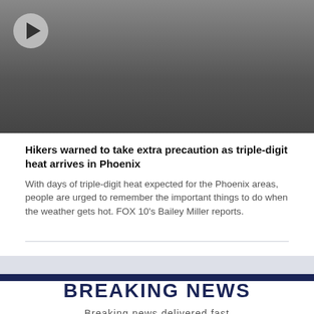[Figure (screenshot): Video thumbnail showing hikers on a trail in hot weather with a play button overlay]
Hikers warned to take extra precaution as triple-digit heat arrives in Phoenix
With days of triple-digit heat expected for the Phoenix areas, people are urged to remember the important things to do when the weather gets hot. FOX 10's Bailey Miller reports.
[Figure (infographic): Breaking News banner section with dark navy header bar, white background, bold BREAKING NEWS title in navy, and subtitle 'Breaking news delivered fast']
BREAKING NEWS
Breaking news delivered fast